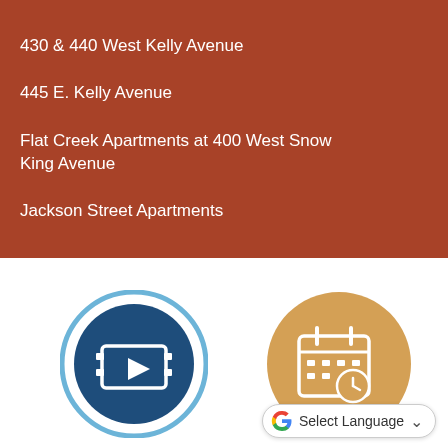430 & 440 West Kelly Avenue
445 E. Kelly Avenue
Flat Creek Apartments at 400 West Snow King Avenue
Jackson Street Apartments
[Figure (illustration): Dark blue circle with video/film icon inside, surrounded by light blue ring]
[Figure (illustration): Tan/gold circle with calendar and clock icon inside, partially cut off]
Select Language